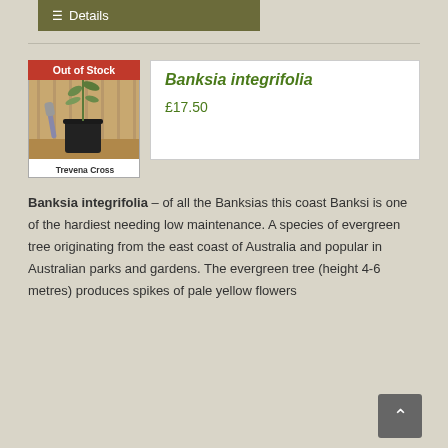Details
[Figure (photo): Photo of a Banksia integrifolia plant in a black pot on a wooden surface, with gardening tools, labeled 'Trevena Cross'. Badge reads 'Out of Stock'.]
Banksia integrifolia
£17.50
Banksia integrifolia – of all the Banksias this coast Banksi is one of the hardiest needing low maintenance. A species of evergreen tree originating from the east coast of Australia and popular in Australian parks and gardens. The evergreen tree (height 4-6 metres) produces spikes of pale yellow flowers